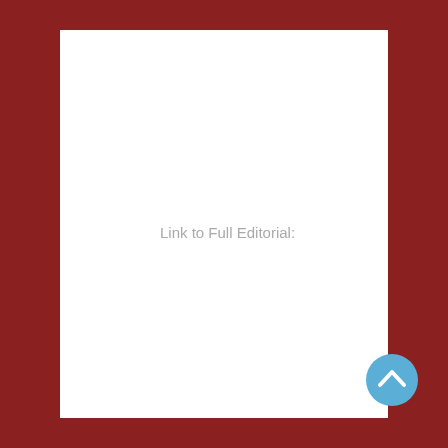Link to Full Editorial:
[Figure (illustration): Blue circular scroll-to-top button with white chevron arrow pointing upward, positioned in the bottom-right corner over the dark red border.]